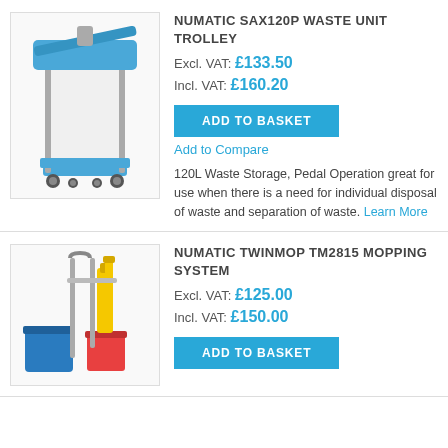[Figure (photo): Numatic SAX120P waste unit trolley - blue plastic wheeled bin with white bag liner and pedal operation]
NUMATIC SAX120P WASTE UNIT TROLLEY
Excl. VAT: £133.50
Incl. VAT: £160.20
ADD TO BASKET
Add to Compare
120L Waste Storage, Pedal Operation great for use when there is a need for individual disposal of waste and separation of waste. Learn More
[Figure (photo): Numatic TwinMop TM2815 mopping system - wheeled trolley with dual blue buckets, yellow and red mop accessories]
NUMATIC TWINMOP TM2815 MOPPING SYSTEM
Excl. VAT: £125.00
Incl. VAT: £150.00
ADD TO BASKET